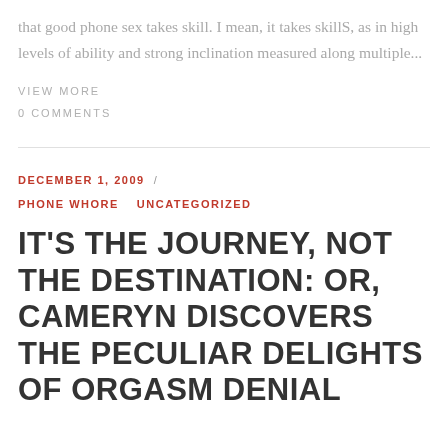that good phone sex takes skill. I mean, it takes skillS, as in high levels of ability and strong inclination measured along multiple...
VIEW MORE
0 COMMENTS
DECEMBER 1, 2009 /
PHONE WHORE   UNCATEGORIZED
IT'S THE JOURNEY, NOT THE DESTINATION: OR, CAMERYN DISCOVERS THE PECULIAR DELIGHTS OF ORGASM DENIAL